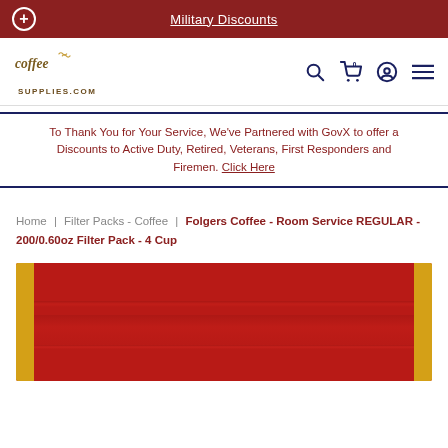Military Discounts
[Figure (logo): CoffeeSupplies.com logo with coffee steam graphic]
To Thank You for Your Service, We've Partnered with GovX to offer a Discounts to Active Duty, Retired, Veterans, First Responders and Firemen. Click Here
Home | Filter Packs - Coffee | Folgers Coffee - Room Service REGULAR - 200/0.60oz Filter Pack - 4 Cup
[Figure (photo): Product photo of Folgers Coffee Room Service filter pack box, red with gold accents]